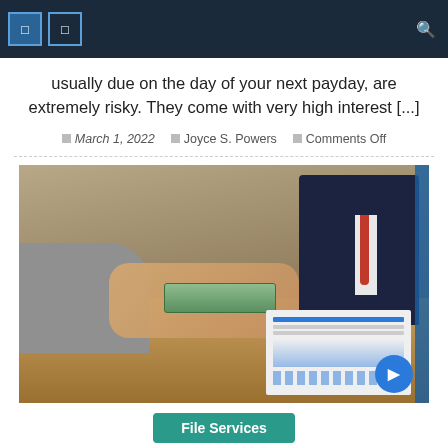Navigation bar with icons
usually due on the day of your next payday, are extremely risky. They come with very high interest [...]
March 1, 2022  Joyce S. Powers  Comments Off
[Figure (photo): Two people exchanging money (cash) over a desk with documents and a laptop; one person wearing a dark suit with red tie, the other in a gray sleeve]
File Services